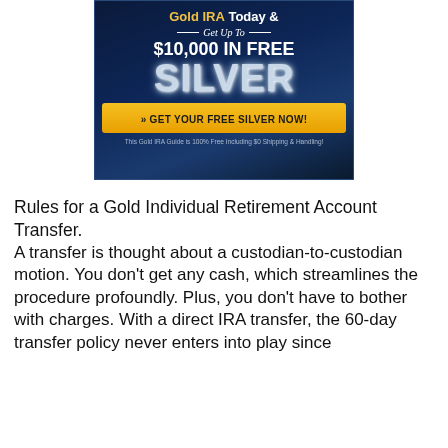[Figure (infographic): Gold IRA advertisement banner with dark blue background. Text: 'Gold IRA Today & Get Up To $10,000 IN FREE SILVER' with a yellow button 'GET YOUR FREE SILVER NOW!' and disclaimer text below.]
Rules for a Gold Individual Retirement Account Transfer.
A transfer is thought about a custodian-to-custodian motion. You don't get any cash, which streamlines the procedure profoundly. Plus, you don't have to bother with charges. With a direct IRA transfer, the 60-day transfer policy never enters into play since